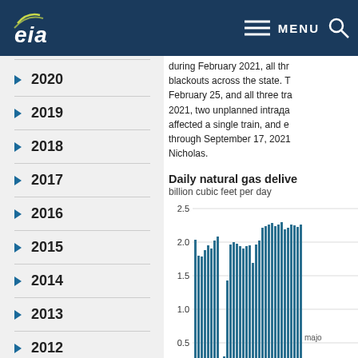EIA | MENU
2020
2019
2018
2017
2016
2015
2014
2013
2012
2011
All Articles
during February 2021, all thr blackouts across the state. T February 25, and all three tra 2021, two unplanned intrада affected a single train, and e through September 17, 2021 Nicholas.
Daily natural gas delive
billion cubic feet per day
[Figure (bar-chart): Bar chart showing daily natural gas deliveries in billion cubic feet per day from Jan-21 to Apr-21, with y-axis from 0.0 to 2.5]